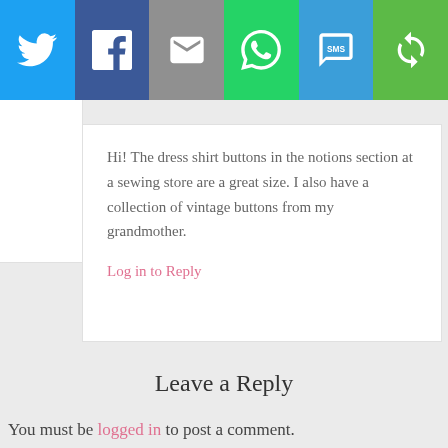[Figure (other): Social sharing bar with six buttons: Twitter (blue bird icon), Facebook (dark blue f icon), Email (grey envelope icon), WhatsApp (green speech bubble icon), SMS (blue SMS icon), and a green circular arrows icon.]
Hi! The dress shirt buttons in the notions section at a sewing store are a great size. I also have a collection of vintage buttons from my grandmother.
Log in to Reply
Leave a Reply
You must be logged in to post a comment.